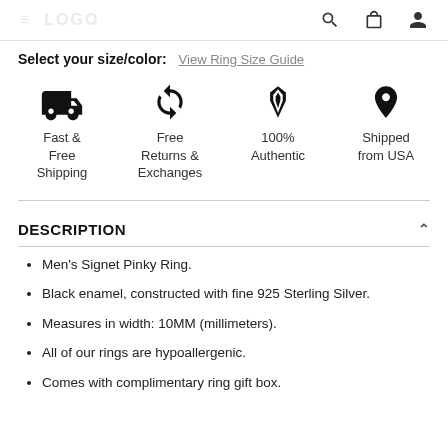≡  [LOGO/BRAND]  🔍  🛍  👤
Select your size/color:  View Ring Size Guide
[Figure (infographic): Four feature icons in a row: truck (Fast & Free Shipping), refresh arrows (Free Returns & Exchanges), diamond (100% Authentic), location pin (Shipped from USA)]
DESCRIPTION
Men's Signet Pinky Ring.
Black enamel, constructed with fine 925 Sterling Silver.
Measures in width: 10MM (millimeters).
All of our rings are hypoallergenic.
Comes with complimentary ring gift box.